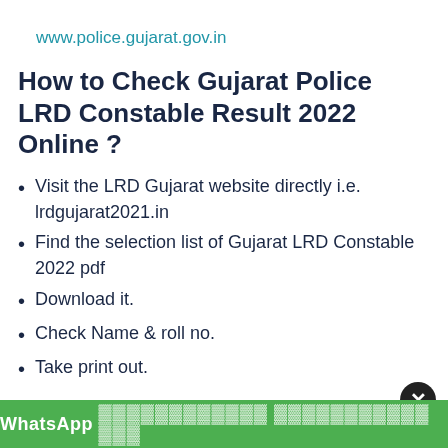www.police.gujarat.gov.in
How to Check Gujarat Police LRD Constable Result 2022 Online ?
Visit the LRD Gujarat website directly i.e. lrdgujarat2021.in
Find the selection list of Gujarat LRD Constable 2022 pdf
Download it.
Check Name & roll no.
Take print out.
LRB Police Physical Running Exam Detail